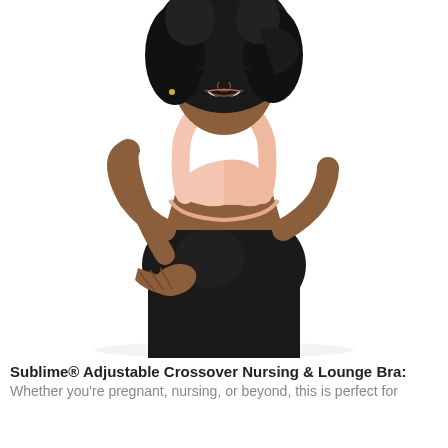[Figure (photo): A smiling pregnant Black woman with curly hair wearing a light pink crossover nursing bra and black maternity leggings, cradling her belly with both hands, against a white background.]
Sublime® Adjustable Crossover Nursing & Lounge Bra: Whether you're pregnant, nursing, or beyond, this is perfect for